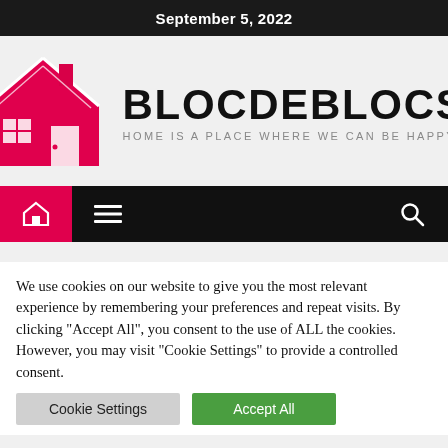September 5, 2022
[Figure (logo): BlocDeBlocs website logo: pink house icon on the left, bold text BLOCDEBLOCS on the right, tagline HOME IS A PLACE WHERE WE CAN BE HAPPY below]
[Figure (screenshot): Navigation bar with red home icon button, hamburger menu button on dark background, and search icon on the right]
We use cookies on our website to give you the most relevant experience by remembering your preferences and repeat visits. By clicking "Accept All", you consent to the use of ALL the cookies. However, you may visit "Cookie Settings" to provide a controlled consent.
Cookie Settings  Accept All